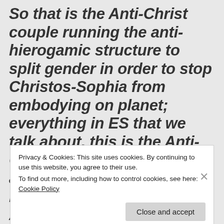So that is the Anti-Christ couple running the anti-hierogamic structure to split gender in order to stop Christos-Sophia from embodying on planet; everything in ES that we talk about, this is the Anti-Christ structure which allows cloned identities to incarnate onto the planet. And this is a level of
Privacy & Cookies: This site uses cookies. By continuing to use this website, you agree to their use.
To find out more, including how to control cookies, see here: Cookie Policy